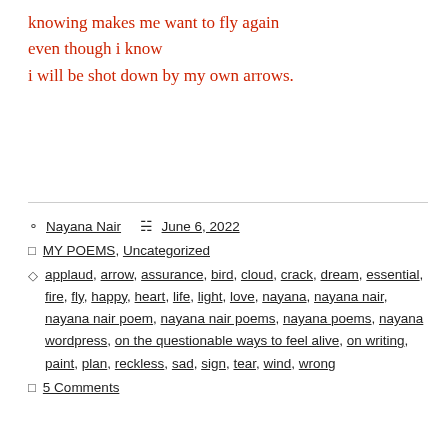knowing makes me want to fly again
even though i know
i will be shot down by my own arrows.
Author: Nayana Nair  Date: June 6, 2022  Category: MY POEMS, Uncategorized  Tags: applaud, arrow, assurance, bird, cloud, crack, dream, essential, fire, fly, happy, heart, life, light, love, nayana, nayana nair, nayana nair poem, nayana nair poems, nayana poems, nayana wordpress, on the questionable ways to feel alive, on writing, paint, plan, reckless, sad, sign, tear, wind, wrong  Comments: 5 Comments